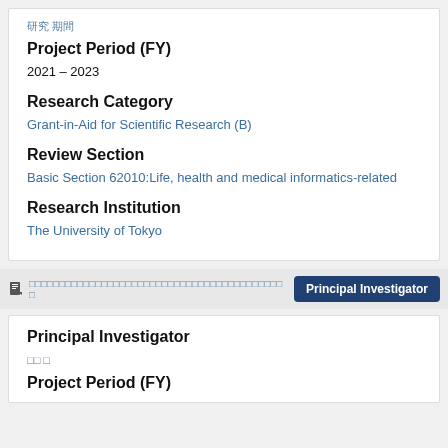研究 期間
Project Period (FY)
2021 – 2023
Research Category
Grant-in-Aid for Scientific Research (B)
Review Section
Basic Section 62010:Life, health and medical informatics-related
Research Institution
The University of Tokyo
□□□□□□□□□□□□□□□□□□□□□□□□□□□□□□□□□□□□□□□□□□□
Principal Investigator
Principal Investigator
□□ □
Project Period (FY)